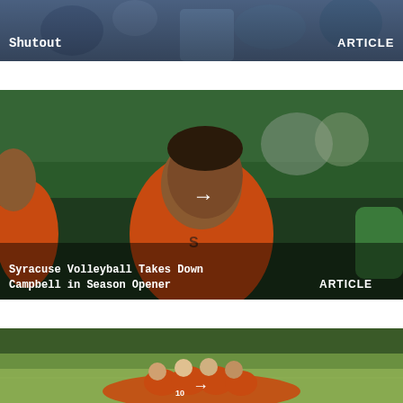[Figure (photo): Partial sports photo (field hockey or lacrosse) with players, dark background. Shows 'Shutout' text overlay and 'ARTICLE' label.]
Shutout — ARTICLE
[Figure (photo): Photo of a man in orange Syracuse polo shirt (coach) speaking to players. Green bleacher seats in background. White arrow in center.]
Syracuse Volleyball Takes Down Campbell in Season Opener — ARTICLE
[Figure (photo): Photo of women's soccer team in orange uniforms huddling on green field. White arrow in center.]